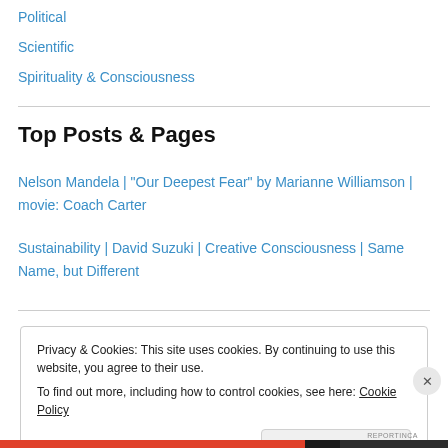Political
Scientific
Spirituality & Consciousness
Top Posts & Pages
Nelson Mandela | "Our Deepest Fear" by Marianne Williamson | movie: Coach Carter
Sustainability | David Suzuki | Creative Consciousness | Same Name, but Different
Privacy & Cookies: This site uses cookies. By continuing to use this website, you agree to their use.
To find out more, including how to control cookies, see here: Cookie Policy
Close and accept